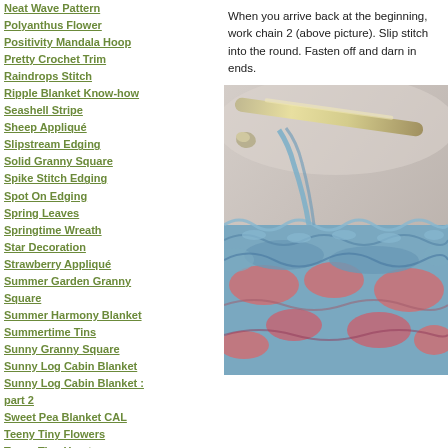Neat Wave Pattern
Polyanthus Flower
Positivity Mandala Hoop
Pretty Crochet Trim
Raindrops Stitch
Ripple Blanket Know-how
Seashell Stripe
Sheep Appliqué
Slipstream Edging
Solid Granny Square
Spike Stitch Edging
Spot On Edging
Spring Leaves
Springtime Wreath
Star Decoration
Strawberry Appliqué
Summer Garden Granny Square
Summer Harmony Blanket
Summertime Tins
Sunny Granny Square
Sunny Log Cabin Blanket
Sunny Log Cabin Blanket : part 2
Sweet Pea Blanket CAL
Teeny Tiny Flowers
Teeny Tiny Hearts
Teeny Tiny Stars
When you arrive back at the beginning, work chain 2 (above picture). Slip stitch into the round. Fasten off and darn in ends.
[Figure (photo): Close-up photo of a crochet hook working through blue and pink yarn, showing a slip stitch in progress on a textured crochet fabric]